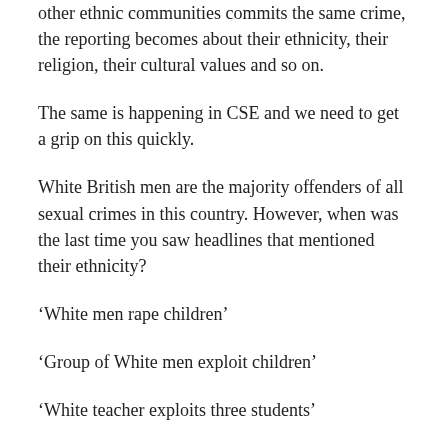other ethnic communities commits the same crime, the reporting becomes about their ethnicity, their religion, their cultural values and so on.
The same is happening in CSE and we need to get a grip on this quickly.
White British men are the majority offenders of all sexual crimes in this country. However, when was the last time you saw headlines that mentioned their ethnicity?
‘White men rape children’
‘Group of White men exploit children’
‘White teacher exploits three students’